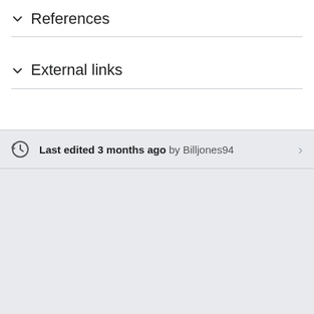References
External links
Last edited 3 months ago by Billjones94